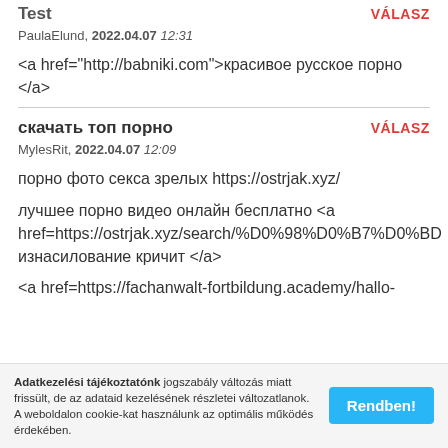Test
VÁLASZ
PaulaElund, 2022.04.07 12:31
<a href="http://babniki.com">красивое русское порно </a>
скачать топ порно
VÁLASZ
MylesRit, 2022.04.07 12:09
порно фото секса зрелых https://ostrjak.xyz/
лучшее порно видео онлайн бесплатно <a href=https://ostrjak.xyz/search/%D0%98%D0%B7%D0%BD изнасилование кричит </a>
<a href=https://fachanwalt-fortbildung.academy/hallo-
Adatkezelési tájékoztatónk jogszabály változás miatt frissült, de az adataid kezelésének részletei változatlanok. A weboldalon cookie-kat használunk az optimális működés érdekében.
Rendben!